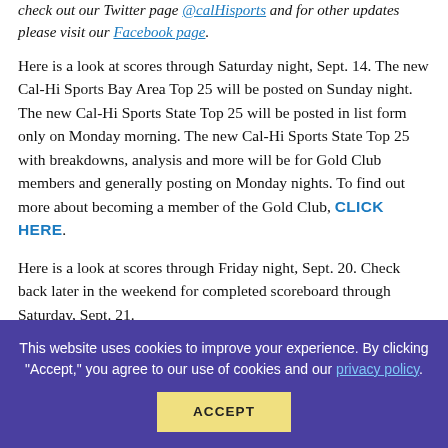check out our Twitter page @calHisports and for other updates please visit our Facebook page.
Here is a look at scores through Saturday night, Sept. 14. The new Cal-Hi Sports Bay Area Top 25 will be posted on Sunday night. The new Cal-Hi Sports State Top 25 will be posted in list form only on Monday morning. The new Cal-Hi Sports State Top 25 with breakdowns, analysis and more will be for Gold Club members and generally posting on Monday nights. To find out more about becoming a member of the Gold Club, CLICK HERE.
Here is a look at scores through Friday night, Sept. 20. Check back later in the weekend for completed scoreboard through Saturday, Sept. 21.
1. De La Salle (Concord) 4-0
This website uses cookies to improve your experience. By clicking "Accept," you agree to our use of cookies and our privacy policy.